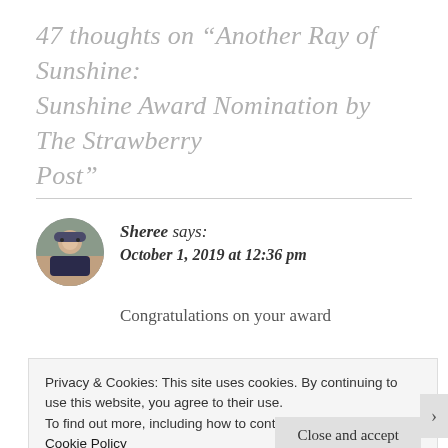47 thoughts on "Another Ray of Sunshine: Sunshine Award Nomination by The Strawberry Post"
Sheree says:
October 1, 2019 at 12:36 pm
Congratulations on your award
Privacy & Cookies: This site uses cookies. By continuing to use this website, you agree to their use.
To find out more, including how to control cookies, see here: Cookie Policy
Close and accept